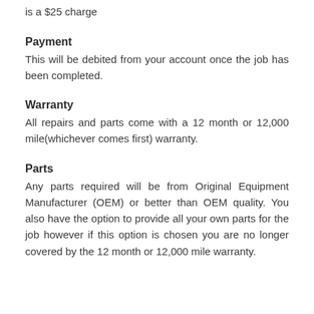is a $25 charge
Payment
This will be debited from your account once the job has been completed.
Warranty
All repairs and parts come with a 12 month or 12,000 mile(whichever comes first) warranty.
Parts
Any parts required will be from Original Equipment Manufacturer (OEM) or better than OEM quality. You also have the option to provide all your own parts for the job however if this option is chosen you are no longer covered by the 12 month or 12,000 mile warranty.